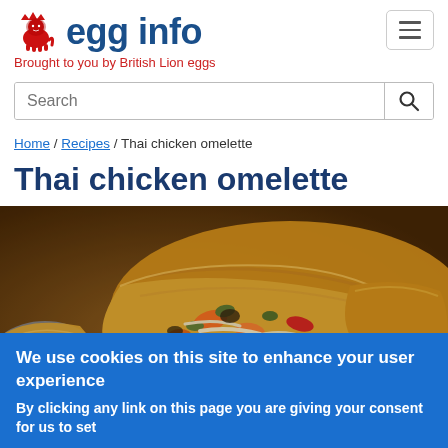egg info — Brought to you by British Lion eggs
Search
Home / Recipes / Thai chicken omelette
Thai chicken omelette
[Figure (photo): Close-up photo of a Thai chicken omelette filled with stir-fried vegetables including carrots, peppers, onions, and bean sprouts, served on a plate.]
We use cookies on this site to enhance your user experience
By clicking any link on this page you are giving your consent for us to set